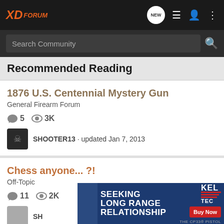XD Forum
Recommended Reading
1876 U.S. Centennial Mystery Gun
General Firearm Forum
5 comments · 3K views
SHOOTER13 · updated Jan 7, 2013
Chess anyone... ?!
Off-Topic
11 comments · 2K views
SH...
[Figure (infographic): Kel-Tec CP33 pistol advertisement — SEEKING LONG RANGE RELATIONSHIP, Buy Now button]